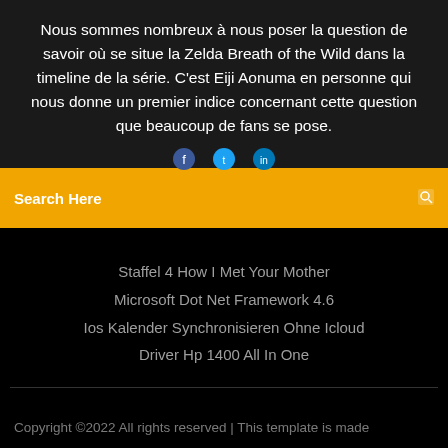Nous sommes nombreux à nous poser la question de savoir où se situe la Zelda Breath of the Wild dans la timeline de la série. C'est Eiji Aonuma en personne qui nous donne un premier indice concernant cette question que beaucoup de fans se pose.
[Figure (other): Search bar with orange background, showing 'Search Here' text in white and a search icon on the right]
Staffel 4 How I Met Your Mother
Microsoft Dot Net Framework 4.6
Ios Kalender Synchronisieren Ohne Icloud
Driver Hp 1400 All In One
Copyright ©2022 All rights reserved | This template is made